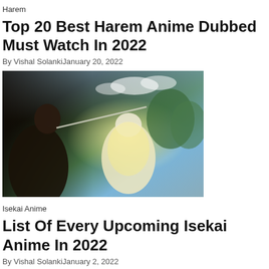Harem
Top 20 Best Harem Anime Dubbed Must Watch In 2022
By Vishal SolankiJanuary 20, 2022
[Figure (photo): Anime scene showing two characters fighting with swords in an outdoor setting with trees and sky in the background]
Isekai Anime
List Of Every Upcoming Isekai Anime In 2022
By Vishal SolankiJanuary 2, 2022